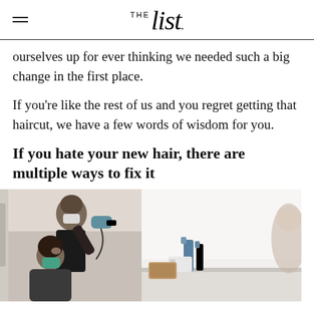THE list
ourselves up for ever thinking we needed such a big change in the first place.
If you're like the rest of us and you regret getting that haircut, we have a few words of wisdom for you.
If you hate your new hair, there are multiple ways to fix it
[Figure (photo): A hairdresser wearing a white mask uses a hair dryer on a seated client wearing a teal mask, in a salon setting. The right side shows a blurred reflection with salon bottles and boxes on a counter.]